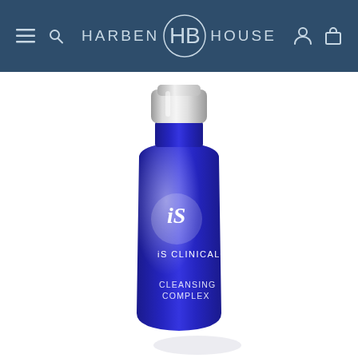HARBEN HB HOUSE
[Figure (photo): A blue bottle of iS Clinical Cleansing Complex with a silver pump cap on a white background]